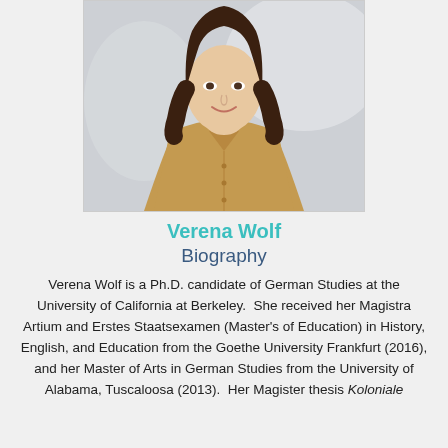[Figure (photo): Portrait photo of Verena Wolf, a young woman with long dark hair wearing a tan/golden blouse, photographed against a blurred light background.]
Verena Wolf
Biography
Verena Wolf is a Ph.D. candidate of German Studies at the University of California at Berkeley.  She received her Magistra Artium and Erstes Staatsexamen (Master's of Education) in History, English, and Education from the Goethe University Frankfurt (2016), and her Master of Arts in German Studies from the University of Alabama, Tuscaloosa (2013).  Her Magister thesis Koloniale